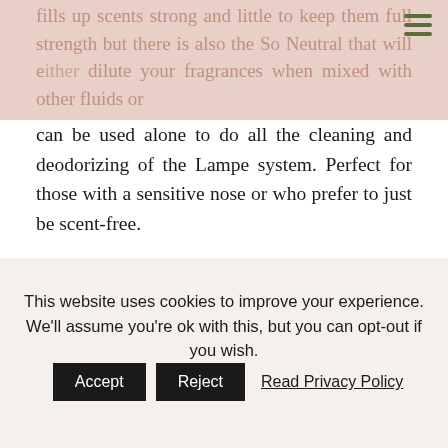...fills up scents strong and little to keep them full strength but there is also the So Neutral that will either dilute your fragrances when mixed with other fluids or can be used alone to do all the cleaning and deodorizing of the Lampe system. Perfect for those with a sensitive nose or who prefer to just be scent-free.
With the beautiful Lampe's available there is surely one to meet your decor needs and there will be no way that your guests will know that it is the reason your home smells so good.
Thanks to Lampe Berger Canada another one of my readers will receive the Lampe Berger Starter kit that...
This website uses cookies to improve your experience. We'll assume you're ok with this, but you can opt-out if you wish. Accept Reject Read Privacy Policy